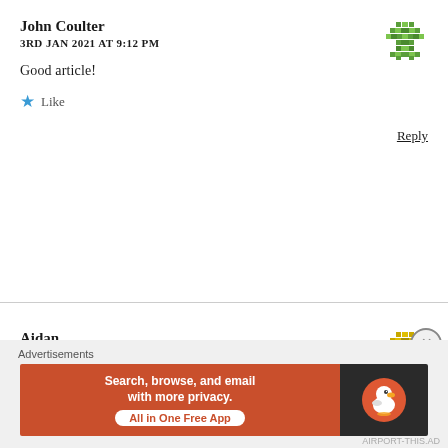John Coulter
3RD JAN 2021 AT 9:12 PM
Good article!
Like
Reply
Aidan
4TH JAN 2021 AT 2:52 AM
[Figure (other): Green pixel art avatar icon]
[Figure (other): Gold/yellow pixel art avatar icon]
Advertisements
[Figure (other): DuckDuckGo advertisement banner: Search, browse, and email with more privacy. All in One Free App]